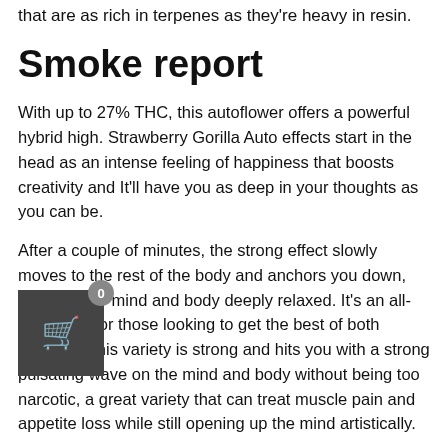that are as rich in terpenes as they're heavy in resin.
Smoke report
With up to 27% THC, this autoflower offers a powerful hybrid high. Strawberry Gorilla Auto effects start in the head as an intense feeling of happiness that boosts creativity and It'll have you as deep in your thoughts as you can be.
After a couple of minutes, the strong effect slowly moves to the rest of the body and anchors you down, leaving your mind and body deeply relaxed. It's an all-day strain for those looking to get the best of both worlds as this variety is strong and hits you with a strong pulsating wave on the mind and body without being too narcotic, a great variety that can treat muscle pain and appetite loss while still opening up the mind artistically.
Plant appearance
extremely vigorous plants with chunky resin-coated buds. Strawberry Gorilla Auto develops medium-sized fan